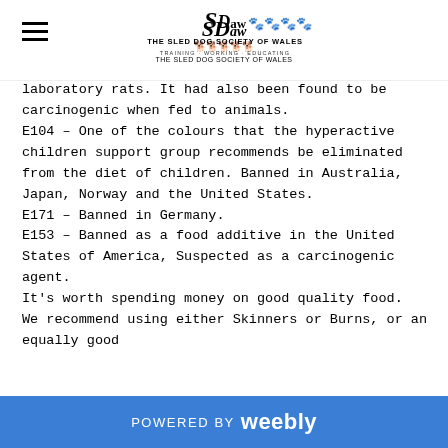The Sled Dog Society of Wales — Training · Working · Educating
laboratory rats. It had also been found to be carcinogenic when fed to animals. E104 – One of the colours that the hyperactive children support group recommends be eliminated from the diet of children. Banned in Australia, Japan, Norway and the United States. E171 – Banned in Germany. E153 – Banned as a food additive in the United States of America, Suspected as a carcinogenic agent.

It's worth spending money on good quality food. We recommend using either Skinners or Burns, or an equally good
POWERED BY weebly